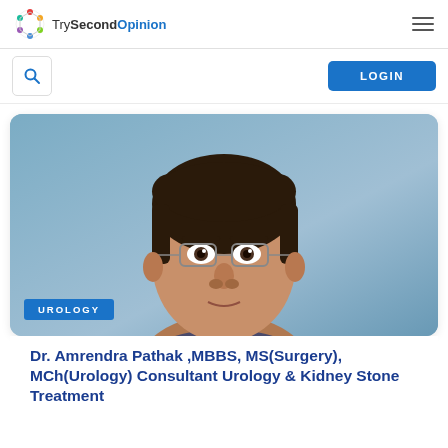TrySecondOpinion
[Figure (logo): TrySecondOpinion logo with colorful circular icon and text]
[Figure (photo): Portrait photograph of Dr. Amrendra Pathak, a man with glasses against a blue background, with a UROLOGY specialty badge overlay]
Dr. Amrendra Pathak ,MBBS, MS(Surgery), MCh(Urology) Consultant Urology & Kidney Stone Treatment